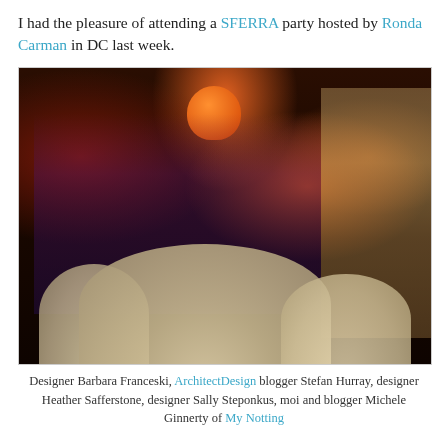I had the pleasure of attending a SFERRA party hosted by Ronda Carman in DC last week.
[Figure (photo): Group photo of six people standing inside what appears to be a luxury linen/pillow store. Shelves with pillows and linens visible in the background. An orange ceramic vase visible on a shelf. Red patterned wallpaper on left. Foreground filled with cream/beige pillows.]
Designer Barbara Franceski, ArchitectDesign blogger Stefan Hurray, designer Heather Safferstone, designer Sally Steponkus, moi and blogger Michele Ginnerty of My Notting